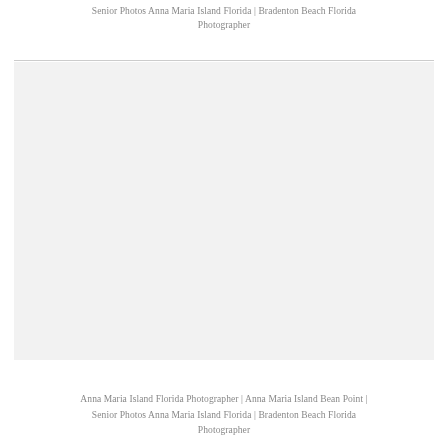Senior Photos Anna Maria Island Florida | Bradenton Beach Florida Photographer
[Figure (photo): Large light gray placeholder rectangle representing a photograph, likely a senior portrait taken at Anna Maria Island or Bradenton Beach, Florida.]
Anna Maria Island Florida Photographer | Anna Maria Island Bean Point | Senior Photos Anna Maria Island Florida | Bradenton Beach Florida Photographer